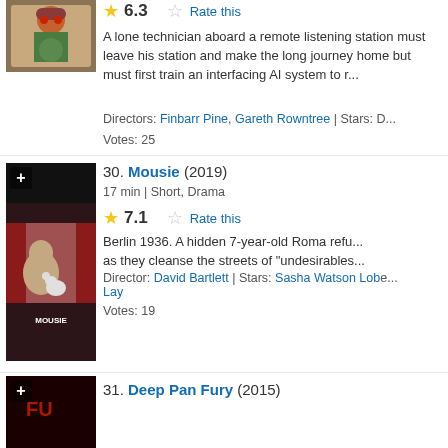[Figure (photo): Movie poster for a film featuring a bearded man with red goggles, partial view]
6.3
Rate this
A lone technician aboard a remote listening station must leave his station and make the long journey home but first must train an interfacing AI system to replace him.
Directors: Finbarr Pine, Gareth Rowntree | Stars: D...
Votes: 25
30. Mousie (2019)
17 min | Short, Drama
[Figure (photo): Movie poster for Mousie (2019) showing a child holding a mouse toy against a Nazi flag background]
7.1
Rate this
Berlin 1936. A hidden 7-year-old Roma refugee watches as they cleanse the streets of "undesirables"...
Director: David Bartlett | Stars: Sasha Watson Lobe... Lay
Votes: 19
31. Deep Pan Fury (2015)
[Figure (photo): Movie poster for Deep Pan Fury (2015), partial view, dark red tones]